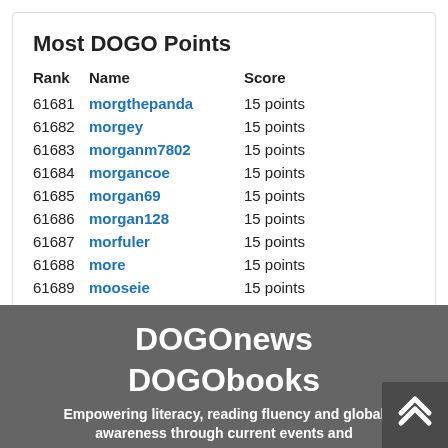Most DOGO Points
| Rank | Name | Score |
| --- | --- | --- |
| 61681 | morgthepanda | 15 points |
| 61682 | morgey | 15 points |
| 61683 | morganm7802 | 15 points |
| 61684 | morgancoe | 15 points |
| 61685 | morgan69 | 15 points |
| 61686 | morgan128 | 15 points |
| 61687 | morfuler | 15 points |
| 61688 | more | 15 points |
| 61689 | mooseie | 15 points |
| 61690 | moose2017 | 15 points |
DOGOnews
DOGObooks
Empowering literacy, reading fluency and global awareness through current events and